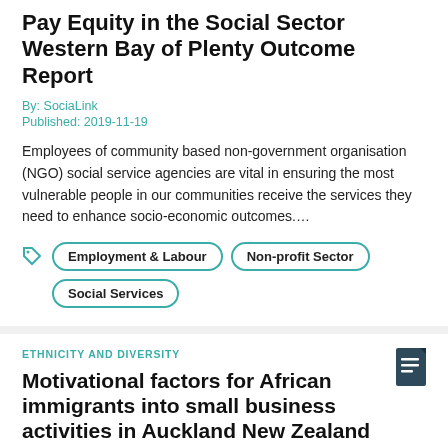Pay Equity in the Social Sector Western Bay of Plenty Outcome Report
By: SociaLink
Published: 2019-11-19
Employees of community based non-government organisation (NGO) social service agencies are vital in ensuring the most vulnerable people in our communities receive the services they need to enhance socio-economic outcomes....
Employment & Labour
Non-profit Sector
Social Services
ETHNICITY AND DIVERSITY
Motivational factors for African immigrants into small business activities in Auckland New Zealand